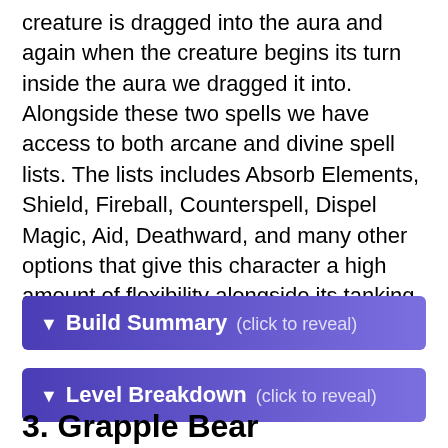creature is dragged into the aura and again when the creature begins its turn inside the aura we dragged it into. Alongside these two spells we have access to both arcane and divine spell lists. The lists includes Absorb Elements, Shield, Fireball, Counterspell, Dispel Magic, Aid, Deathward, and many other options that give this character a high amount of flexibility alongside its tanking abilities.
Build Summary (click to reveal)
Level Breakdown (click to reveal)
3. Grapple Bear